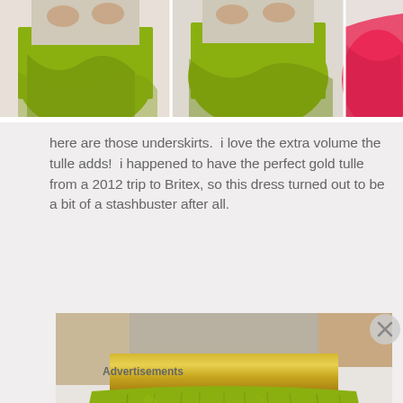[Figure (photo): Three photos side by side showing green/olive underskirts and a pink/red dress being twirled]
here are those underskirts.  i love the extra volume the tulle adds!  i happened to have the perfect gold tulle from a 2012 trip to Britex, so this dress turned out to be a bit of a stashbuster after all.
[Figure (photo): Close-up photo of a green/olive full skirt dress with a gold/champagne satin sash waistband, model's torso visible from waist up]
Advertisements